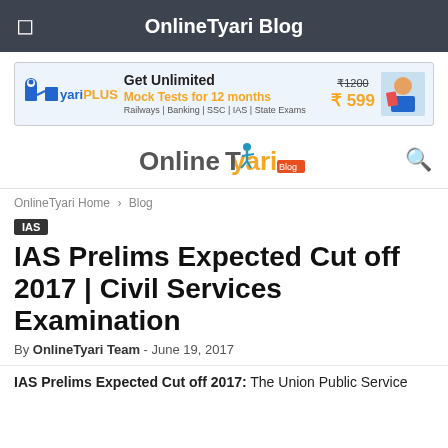OnlineTyari Blog
[Figure (illustration): OnlineTyari Plus advertisement banner: Get Unlimited Mock Tests for 12 months. Railways | Banking | SSC | IAS | State Exams. Price: ₹1200 (struck) ₹ 599]
[Figure (logo): OnlineTyari Blog logo with search icon]
OnlineTyari Home › Blog
IAS
IAS Prelims Expected Cut off 2017 | Civil Services Examination
By OnlineTyari Team - June 19, 2017
IAS Prelims Expected Cut off 2017: The Union Public Service